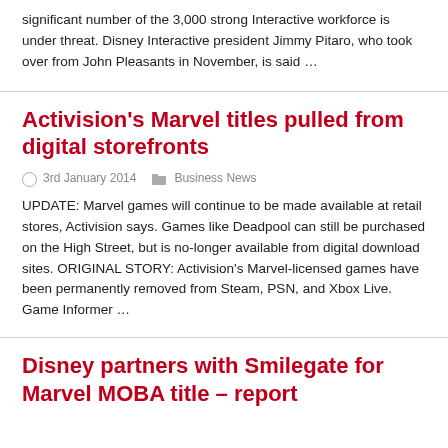significant number of the 3,000 strong Interactive workforce is under threat. Disney Interactive president Jimmy Pitaro, who took over from John Pleasants in November, is said …
Activision's Marvel titles pulled from digital storefronts
3rd January 2014   Business News
UPDATE: Marvel games will continue to be made available at retail stores, Activision says. Games like Deadpool can still be purchased on the High Street, but is no-longer available from digital download sites. ORIGINAL STORY: Activision's Marvel-licensed games have been permanently removed from Steam, PSN, and Xbox Live. Game Informer …
Disney partners with Smilegate for Marvel MOBA title – report